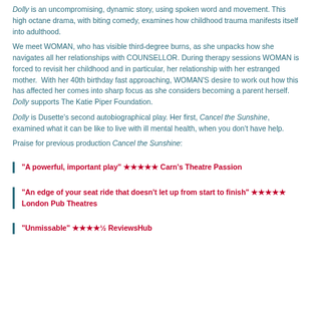Dolly is an uncompromising, dynamic story, using spoken word and movement. This high octane drama, with biting comedy, examines how childhood trauma manifests itself into adulthood.
We meet WOMAN, who has visible third-degree burns, as she unpacks how she navigates all her relationships with COUNSELLOR. During therapy sessions WOMAN is forced to revisit her childhood and in particular, her relationship with her estranged mother. With her 40th birthday fast approaching, WOMAN'S desire to work out how this has affected her comes into sharp focus as she considers becoming a parent herself. Dolly supports The Katie Piper Foundation.
Dolly is Dusette's second autobiographical play. Her first, Cancel the Sunshine, examined what it can be like to live with ill mental health, when you don't have help.
Praise for previous production Cancel the Sunshine:
"A powerful, important play" ★★★★★ Carn's Theatre Passion
"An edge of your seat ride that doesn't let up from start to finish" ★★★★★ London Pub Theatres
"Unmissable" ★★★★½ ReviewsHub